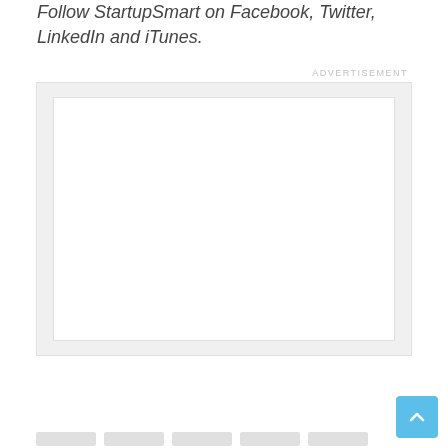Follow StartupSmart on Facebook, Twitter, LinkedIn and iTunes.
[Figure (other): Advertisement placeholder box with light gray outer border and white inner area]
[Figure (other): Blue scroll-to-top button with upward arrow]
[Figure (other): Row of thumbnail placeholder boxes at bottom of page]